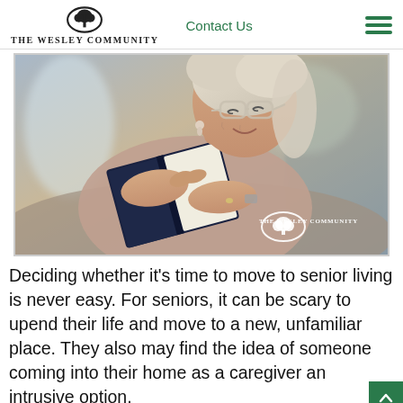The Wesley Community | Contact Us
[Figure (photo): Elderly woman with white hair and glasses smiling while reading a dark-covered book, seated on a couch. The Wesley Community logo and name appear in the lower right corner of the image.]
Deciding whether it’s time to move to senior living is never easy. For seniors, it can be scary to upend their life and move to a new, unfamiliar place. They also may find the idea of someone coming into their home as a caregiver an intrusive option.